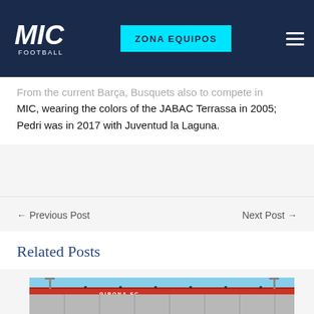MIC Football | ZONA EQUIPOS
From the current Barça, Busquets also to compete in MIC, wearing the colors of the JABAC Terrassa in 2005; Pedri was in 2017 with Juventud la Laguna.
← Previous Post   Next Post →
Related Posts
[Figure (photo): Stadium exterior photo showing a stadium grandstand with a red roof canopy and floodlight towers against a blue sky, partially visible with 'GIRONA FC' text on the stand]